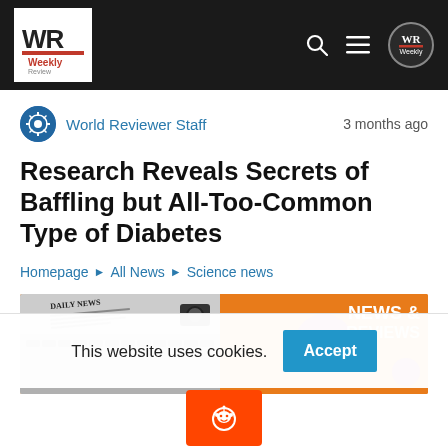WR Weekly — navigation header with logo, search, menu, and profile icons
World Reviewer Staff   3 months ago
Research Reveals Secrets of Baffling but All-Too-Common Type of Diabetes
Homepage ▶ All News ▶ Science news
[Figure (photo): WR Weekly News & Reviews orange banner image with laptop, newspaper, camera and logo]
This website uses cookies.
[Figure (logo): Reddit orange share button with alien icon]